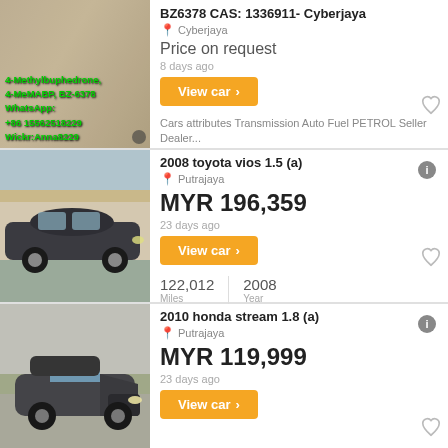[Figure (photo): Drug advertisement image with QR code and green text overlay: 4-Methylbuphedrone, 4-MeMABP, BZ-6378 WhatsApp: +86 15562518229 Wickr:Anna8229]
BZ6378 CAS: 1336911- Cyberjaya
Cyberjaya
Price on request
8 days ago
View car >
Cars attributes Transmission Auto Fuel PETROL Seller Dealer...
[Figure (photo): Dark colored Toyota Vios sedan parked in front of a building]
2008 toyota vios 1.5 (a)
Putrajaya
MYR 196,359
23 days ago
View car >
122,012 Miles
2008 Year
[Figure (photo): Dark colored Honda Stream MPV, front view, parked outdoors]
2010 honda stream 1.8 (a)
Putrajaya
MYR 119,999
23 days ago
View car >